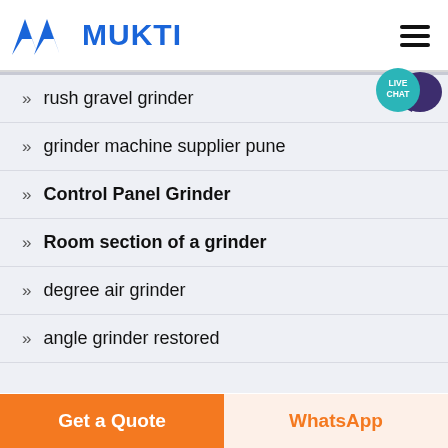MUKTI
» rush gravel grinder
» grinder machine supplier pune
» Control Panel Grinder
» Room section of a grinder
» degree air grinder
» angle grinder restored
Get a Quote | WhatsApp